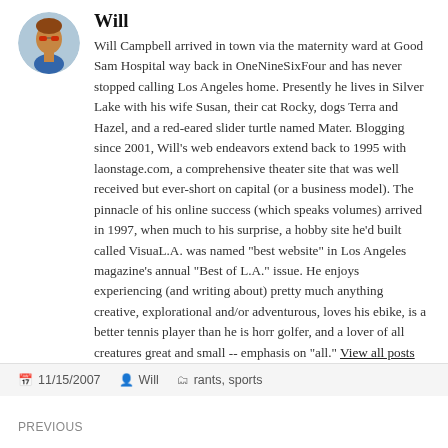[Figure (photo): Circular avatar photo of Will, showing a man wearing a blue garment outdoors]
Will
Will Campbell arrived in town via the maternity ward at Good Sam Hospital way back in OneNineSixFour and has never stopped calling Los Angeles home. Presently he lives in Silver Lake with his wife Susan, their cat Rocky, dogs Terra and Hazel, and a red-eared slider turtle named Mater. Blogging since 2001, Will's web endeavors extend back to 1995 with laonstage.com, a comprehensive theater site that was well received but ever-short on capital (or a business model). The pinnacle of his online success (which speaks volumes) arrived in 1997, when much to his surprise, a hobby site he'd built called VisuaL.A. was named "best website" in Los Angeles magazine's annual "Best of L.A." issue. He enjoys experiencing (and writing about) pretty much anything creative, explorational and/or adventurous, loves his ebike, is a better tennis player than he is horr golfer, and a lover of all creatures great and small -- emphasis on "all." View all posts by Will →
11/15/2007   Will   rants, sports